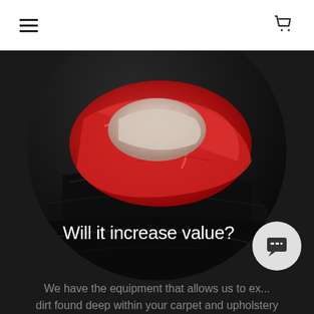navigation header with hamburger menu and cart icon
[Figure (photo): A gloved hand holding a red microfiber cloth wiping a shiny black surface, displayed in a circular crop against a dark background]
Will it increase value?
We have the equipment that allows us to ex... dirt found deep within your carpet and upholstery